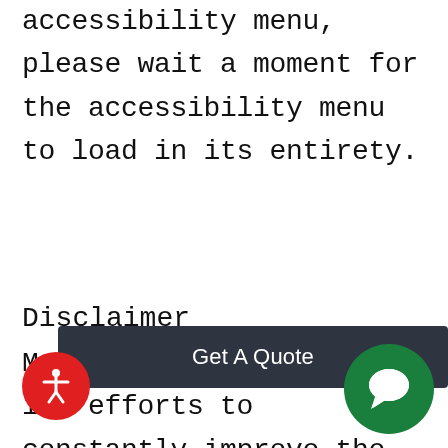accessibility menu, please wait a moment for the accessibility menu to load in its entirety.
Disclaimer
Martino HVAC continues its efforts to constantly improve the accessibility of its site and services in the belief that it is our collective moral obligation to allow s...nd unhindered also for those of us with disabilities.